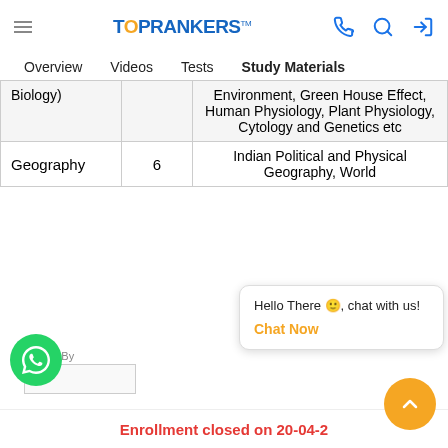TOPRANKERS
Overview   Videos   Tests   Study Materials
| Subject | Count | Topics |
| --- | --- | --- |
| Biology) |  | Environment, Green House Effect, Human Physiology, Plant Physiology, Cytology and Genetics etc |
| Geography | 6 | Indian Political and Physical Geography, World Geography, |
Hello There 🙂, chat with us!
Chat Now
Enrollment closed on 20-04-2
Posted By